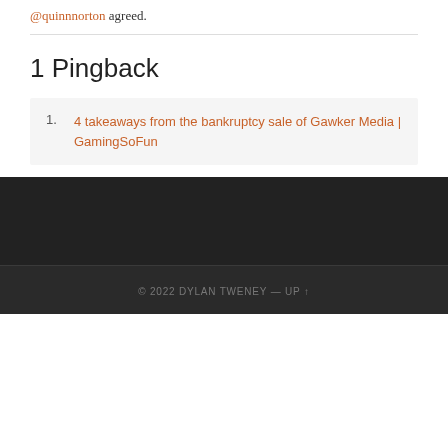@quinnnorton agreed.
1 Pingback
4 takeaways from the bankruptcy sale of Gawker Media | GamingSoFun
© 2022 DYLAN TWENEY — UP ↑